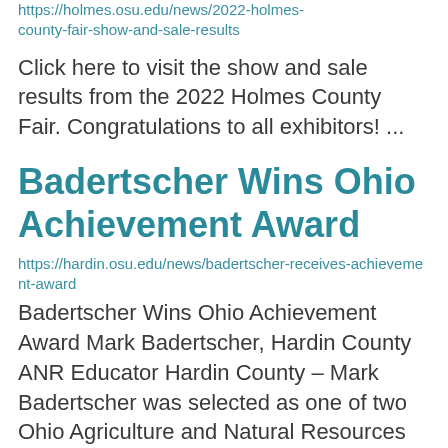https://holmes.osu.edu/news/2022-holmes-county-fair-show-and-sale-results
Click here to visit the show and sale results from the 2022 Holmes County Fair. Congratulations to all exhibitors! ...
Badertscher Wins Ohio Achievement Award
https://hardin.osu.edu/news/badertscher-receives-achievement-award
Badertscher Wins Ohio Achievement Award Mark Badertscher, Hardin County ANR Educator Hardin County – Mark Badertscher was selected as one of two Ohio Agriculture and Natural Resources Extension Educators to be recognized for